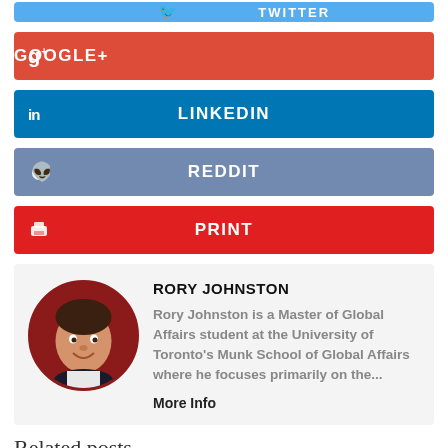[Figure (other): Twitter share button (partially visible at top)]
[Figure (other): Google+ share button]
[Figure (other): LinkedIn share button]
[Figure (other): Reddit share button]
[Figure (other): Print button]
RORY JOHNSTON
Rory Johnston is a Master of Global Affairs student at the University of Toronto's Munk School of Global Affairs where he focuses primarily on the...
More Info
Related posts